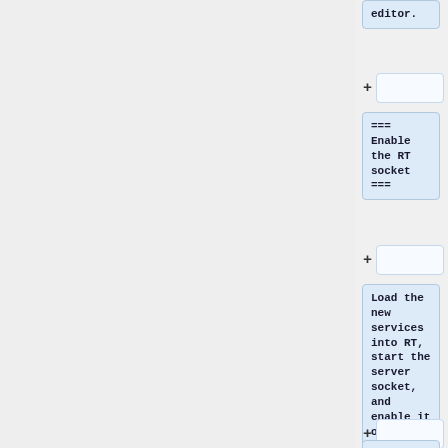editor.
=== Enable the RT socket ===
Load the new services into RT, start the server socket, and enable it on future boots:
<pre>sudo